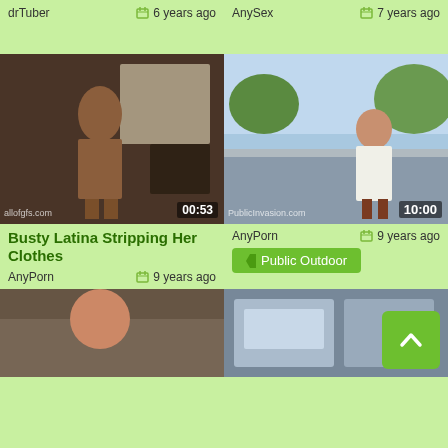drTuber  |  6 years ago
AnySex  |  7 years ago
[Figure (photo): Indoor bathroom scene, duration 00:53, watermark allofgfs.com]
[Figure (photo): Outdoor bridge/overpass scene, duration 10:00, watermark PublicInvasion.com]
Busty Latina Stripping Her Clothes
AnyPorn  |  9 years ago
AnyPorn  |  9 years ago
Public Outdoor
[Figure (photo): Bottom left video thumbnail preview]
[Figure (photo): Bottom right video thumbnail preview]